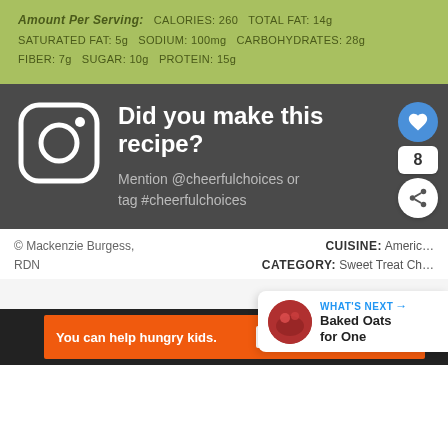Amount Per Serving: CALORIES: 260 TOTAL FAT: 14g SATURATED FAT: 5g SODIUM: 100mg CARBOHYDRATES: 28g FIBER: 7g SUGAR: 10g PROTEIN: 15g
Did you make this recipe?
Mention @cheerfulchoices or tag #cheerfulchoices
© Mackenzie Burgess, RDN
CUISINE: American CATEGORY: Sweet Treat Choices
WHAT'S NEXT → Baked Oats for One
You can help hungry kids.  NOKID HUNGRY  LEARN HOW